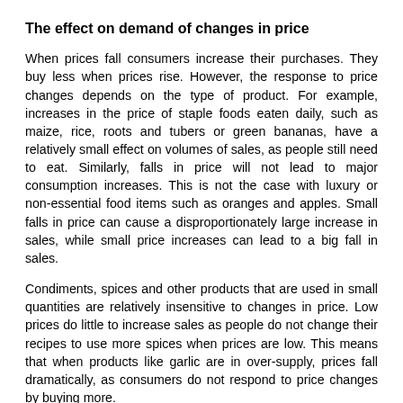The effect on demand of changes in price
When prices fall consumers increase their purchases. They buy less when prices rise. However, the response to price changes depends on the type of product. For example, increases in the price of staple foods eaten daily, such as maize, rice, roots and tubers or green bananas, have a relatively small effect on volumes of sales, as people still need to eat. Similarly, falls in price will not lead to major consumption increases. This is not the case with luxury or non-essential food items such as oranges and apples. Small falls in price can cause a disproportionately large increase in sales, while small price increases can lead to a big fall in sales.
Condiments, spices and other products that are used in small quantities are relatively insensitive to changes in price. Low prices do little to increase sales as people do not change their recipes to use more spices when prices are low. This means that when products like garlic are in over-supply, prices fall dramatically, as consumers do not respond to price changes by buying more.
The effect on price of changes in demand
Consumer demand and tastes change constantly. Short-term changes can be caused by the weather. In northwest Europe, sunny days increase the demand for salad crops (tomatoes, lettuce, cucumbers) but when the weather becomes cooler vegetables for cooking are in stronger